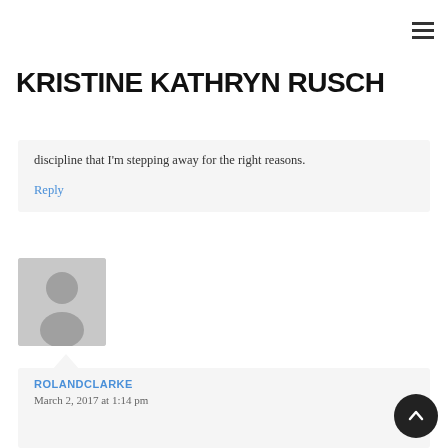KRISTINE KATHRYN RUSCH
discipline that I'm stepping away for the right reasons.
Reply
[Figure (photo): Generic user avatar placeholder — grey silhouette on light grey background]
ROLANDCLARKE
March 2, 2017 at 1:14 pm